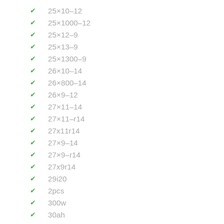25×10–12
25×1000–12
25×12–9
25×13–9
25×1300–9
26×10–14
26×800–14
26×9–12
27×11–14
27×11–r14
27x11r14
27×9–14
27×9–r14
27x9r14
29i20
2pcs
300w
30ah